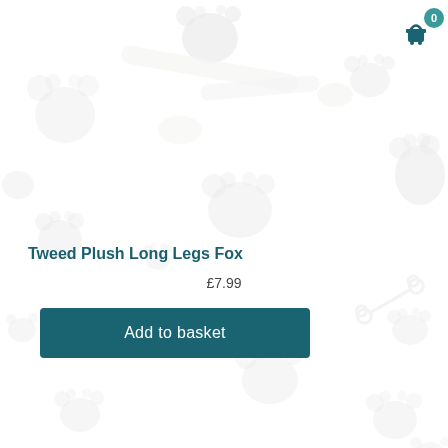[Figure (illustration): Light grey paw print and dog bone pattern decorating the background of the page, with a faded image of dog toys (white rubber bone shapes) in the upper portion.]
Tweed Plush Long Legs Fox
£7.99
Add to basket